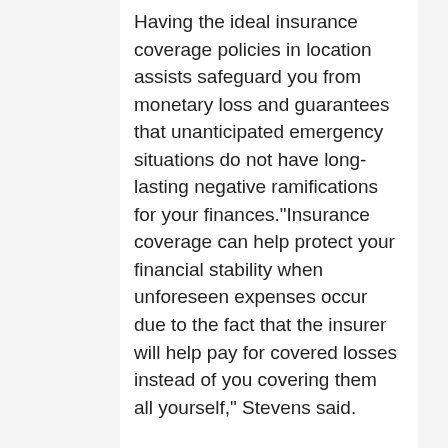Having the ideal insurance coverage policies in location assists safeguard you from monetary loss and guarantees that unanticipated emergency situations do not have long-lasting negative ramifications for your finances."Insurance coverage can help protect your financial stability when unforeseen expenses occur due to the fact that the insurer will help pay for covered losses instead of you covering them all yourself," Stevens said.
It truly shines when it comes to client fulfillment, thanks to its hands-on technique. If you desire individualized service, then Auto-